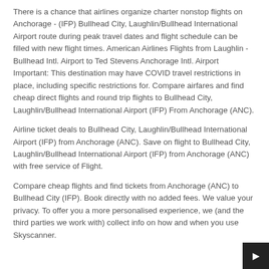There is a chance that airlines organize charter nonstop flights on Anchorage - (IFP) Bullhead City, Laughlin/Bullhead International Airport route during peak travel dates and flight schedule can be filled with new flight times. American Airlines Flights from Laughlin - Bullhead Intl. Airport to Ted Stevens Anchorage Intl. Airport Important: This destination may have COVID travel restrictions in place, including specific restrictions for. Compare airfares and find cheap direct flights and round trip flights to Bullhead City, Laughlin/Bullhead International Airport (IFP) From Anchorage (ANC).
Airline ticket deals to Bullhead City, Laughlin/Bullhead International Airport (IFP) from Anchorage (ANC). Save on flight to Bullhead City, Laughlin/Bullhead International Airport (IFP) from Anchorage (ANC) with free service of Flight.
Compare cheap flights and find tickets from Anchorage (ANC) to Bullhead City (IFP). Book directly with no added fees. We value your privacy. To offer you a more personalised experience, we (and the third parties we work with) collect info on how and when you use Skyscanner.